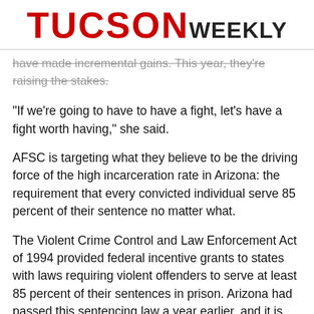TUCSON WEEKLY
have made incremental gains. This year, they're raising the stakes.
"If we're going to have to have a fight, let's have a fight worth having," she said.
AFSC is targeting what they believe to be the driving force of the high incarceration rate in Arizona: the requirement that every convicted individual serve 85 percent of their sentence no matter what.
The Violent Crime Control and Law Enforcement Act of 1994 provided federal incentive grants to states with laws requiring violent offenders to serve at least 85 percent of their sentences in prison. Arizona had passed this sentencing law a year earlier, and it is still in effect today.